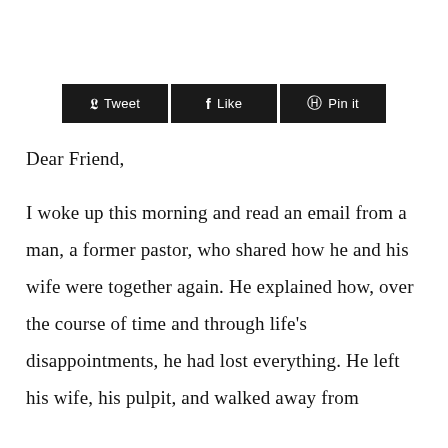[Figure (other): Social sharing buttons: Tweet (Twitter), Like (Facebook), Pin it (Pinterest), displayed as dark/black rectangular buttons in a row]
Dear Friend,
I woke up this morning and read an email from a man, a former pastor, who shared how he and his wife were together again. He explained how, over the course of time and through life's disappointments, he had lost everything. He left his wife, his pulpit, and walked away from